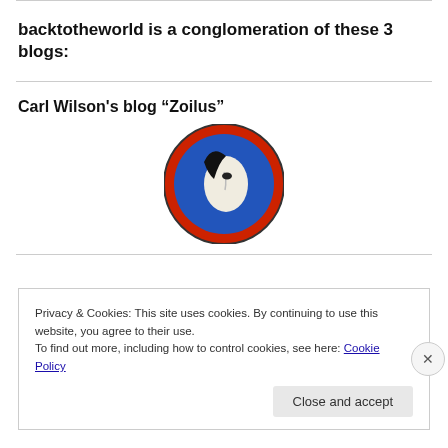backtotheworld is a conglomeration of these 3 blogs:
Carl Wilson's blog “Zoilus”
[Figure (logo): Circular logo with a face silhouette in black and white, surrounded by a red border and blue background with decorative elements]
Privacy & Cookies: This site uses cookies. By continuing to use this website, you agree to their use.
To find out more, including how to control cookies, see here: Cookie Policy